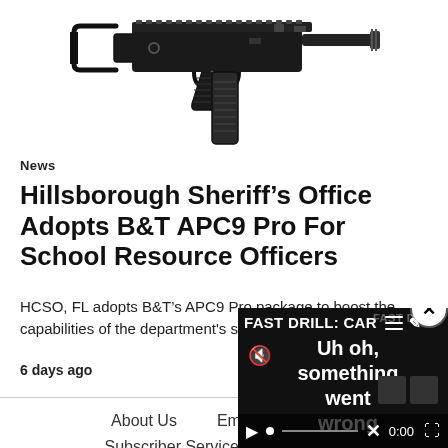[Figure (photo): Black B&T APC9 Pro submachine gun on white background, showing folding stock, pistol grip, barrel, and magazine]
News
Hillsborough Sheriff’s Office Adopts B&T APC9 Pro For School Resource Officers
HCSO, FL adopts B&T’s APC9 Pro package to boost the capabilities of the department's specialized…
6 days ago
[Figure (screenshot): Video player overlay showing error message 'Uh oh, something went wrong' with FAST DRILL: CAR text, mute icon, play button, progress bar, and expand controls]
About Us   Email Newsletter   Subscriber Services   Advertise